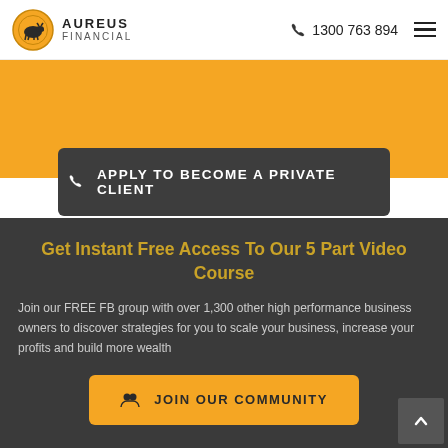AUREUS FINANCIAL | 1300 763 894
financial goals and how to reach them.
APPLY TO BECOME A PRIVATE CLIENT
Get Instant Free Access To Our 5 Part Video Course
Join our FREE FB group with over 1,300 other high performance business owners to discover strategies for you to scale your business, increase your profits and build more wealth
JOIN OUR COMMUNITY